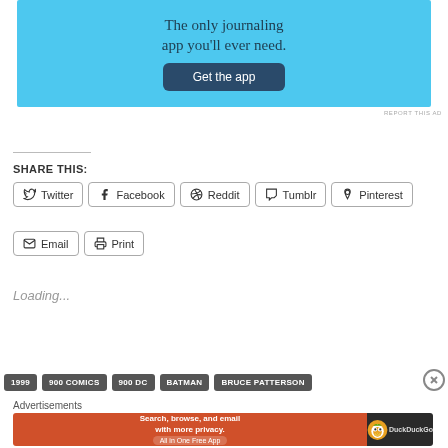[Figure (screenshot): Advertisement banner with light blue background showing text 'The only journaling app you'll ever need.' and a dark blue 'Get the app' button]
REPORT THIS AD
SHARE THIS:
Twitter  Facebook  Reddit  Tumblr  Pinterest  Email  Print
Loading...
1999  900 COMICS  900 DC  BATMAN  BRUCE PATTERSON
Advertisements
[Figure (screenshot): DuckDuckGo advertisement: orange background with text 'Search, browse, and email with more privacy. All in One Free App' and DuckDuckGo logo on dark right side]